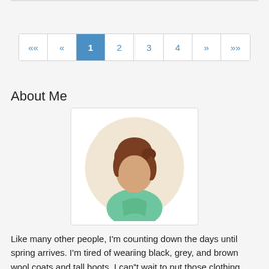[Figure (other): Pagination control showing pages: «« « 1 2 3 4 » »»  with page 1 highlighted in blue]
About Me
[Figure (illustration): Avatar illustration of a woman with short brown hair wearing a green top, displayed in a circular frame with a beige background, inside a white bordered box]
Like many other people, I'm counting down the days until spring arrives. I'm tired of wearing black, grey, and brown wool coats and tall boots. I can't wait to put those clothing items into